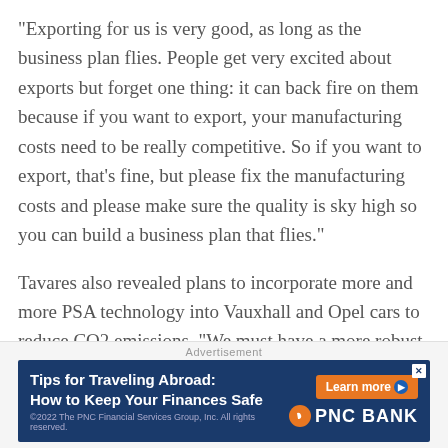“Exporting for us is very good, as long as the business plan flies. People get very excited about exports but forget one thing: it can back fire on them because if you want to export, your manufacturing costs need to be really competitive. So if you want to export, that’s fine, but please fix the manufacturing costs and please make sure the quality is sky high so you can build a business plan that flies.”
Tavares also revealed plans to incorporate more and more PSA technology into Vauxhall and Opel cars to reduce CO2 emissions. “We must have a more robust CO2 roadmap,”
Advertisement
[Figure (other): PNC Bank advertisement banner: 'Tips for Traveling Abroad: How to Keep Your Finances Safe' with a Learn more button and PNC Bank logo on dark blue background.]